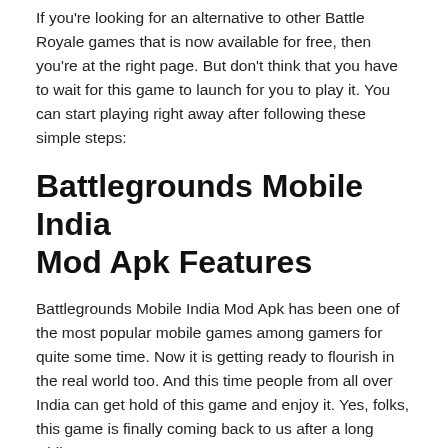If you're looking for an alternative to other Battle Royale games that is now available for free, then you're at the right page. But don't think that you have to wait for this game to launch for you to play it. You can start playing right away after following these simple steps:
Battlegrounds Mobile India Mod Apk Features
Battlegrounds Mobile India Mod Apk has been one of the most popular mobile games among gamers for quite some time. Now it is getting ready to flourish in the real world too. And this time people from all over India can get hold of this game and enjoy it. Yes, folks, this game is finally coming back to us after a long while.
What makes this game so appealing and perfect for all is how easy and enjoyable it is to play, there are no hard-to-find